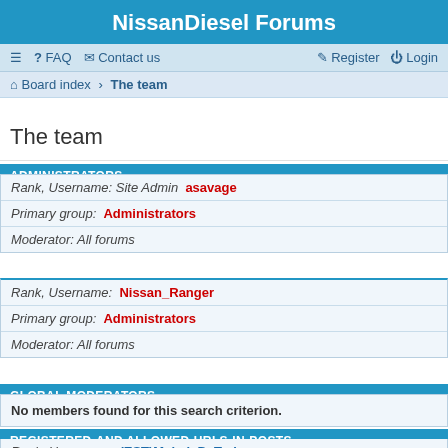NissanDiesel Forums
≡  FAQ  Contact us  Register  Login
Board index › The team
The team
ADMINISTRATORS
Rank, Username: Site Admin asavage
Primary group: Administrators
Moderator: All forums
Rank, Username: Nissan_Ranger
Primary group: Administrators
Moderator: All forums
GLOBAL MODERATORS
No members found for this search criterion.
REGISTERED-AND ALLOWED-URLS-IN-POSTS
Rank, Username: (EST)MahviaDeTyrk